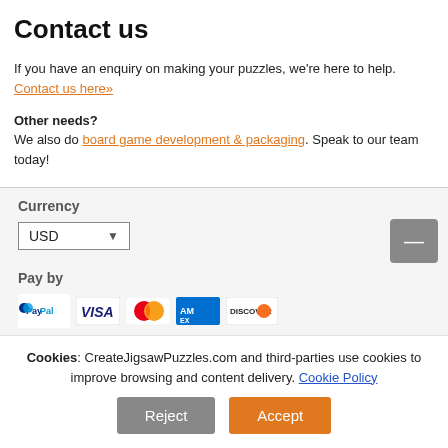Contact us
If you have an enquiry on making your puzzles, we're here to help. Contact us here»
Other needs?
We also do board game development & packaging. Speak to our team today!
Currency
USD ▾
Pay by
[Figure (logo): Payment method logos: PayPal, VISA, MasterCard, AmericanExpress, Discover]
Wire Transfer also available
Stay Connected
Your Account
Cookies: CreateJigsawPuzzles.com and third-parties use cookies to improve browsing and content delivery. Cookie Policy
Reject
Accept